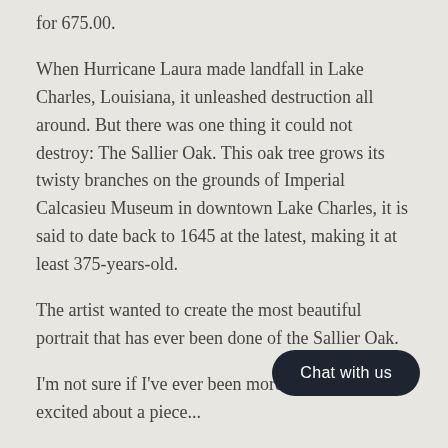for 675.00.
When Hurricane Laura made landfall in Lake Charles, Louisiana, it unleashed destruction all around. But there was one thing it could not destroy: The Sallier Oak. This oak tree grows its twisty branches on the grounds of Imperial Calcasieu Museum in downtown Lake Charles, it is said to date back to 1645 at the latest, making it at least 375-years-old.
The artist wanted to create the most beautiful portrait that has ever been done of the Sallier Oak.
I'm not sure if I've ever been more proud and excited about a piece...
This pen and ink drawing -since the se[cond day of its] creation - 2 days ago -reminds me o[f...] Solid growth. What we should try to see and appreciate in